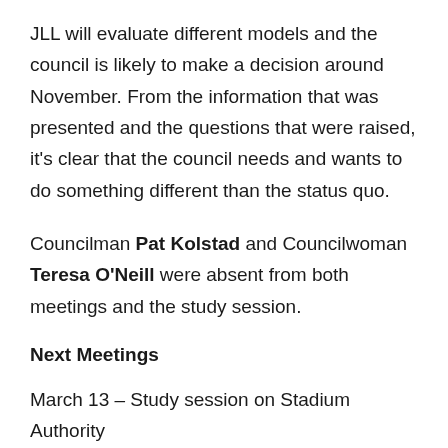JLL will evaluate different models and the council is likely to make a decision around November. From the information that was presented and the questions that were raised, it's clear that the council needs and wants to do something different than the status quo.
Councilman Pat Kolstad and Councilwoman Teresa O'Neill were absent from both meetings and the study session.
Next Meetings
March 13 – Study session on Stadium Authority